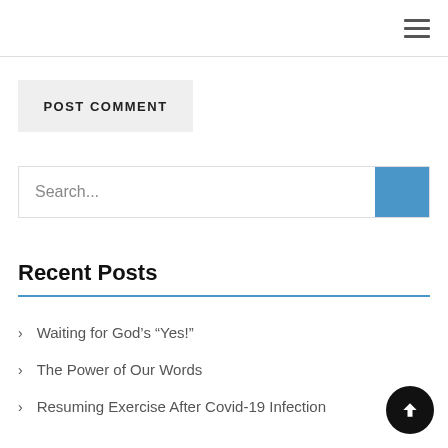≡ (hamburger menu icon)
POST COMMENT
Search...
Recent Posts
Waiting for God's “Yes!”
The Power of Our Words
Resuming Exercise After Covid-19 Infection